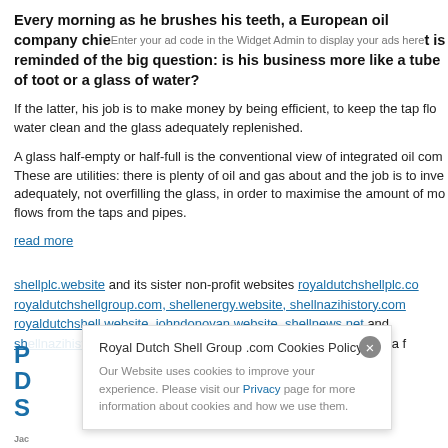Every morning as he brushes his teeth, a European oil company chief is reminded of the big question: is his business more like a tube of toothpaste or a glass of water?
If the latter, his job is to make money by being efficient, to keep the tap flowing, the water clean and the glass adequately replenished.
A glass half-empty or half-full is the conventional view of integrated oil companies. These are utilities: there is plenty of oil and gas about and the job is to invest adequately, not overfilling the glass, in order to maximise the amount of money that flows from the taps and pipes.
read more
shellplc.website and its sister non-profit websites royaldutchshellplc.com, royaldutchshellgroup.com, shellenergy.website, shellnazihistory.com royaldutchshell.website, johndonovan.website, shellnews.net and sh... are owned by John Donovan. There is also a media f...
[Figure (screenshot): Cookie consent popup overlay: 'Royal Dutch Shell Group .com Cookies Policy' with text about website cookies and a Privacy link, with a circular close button.]